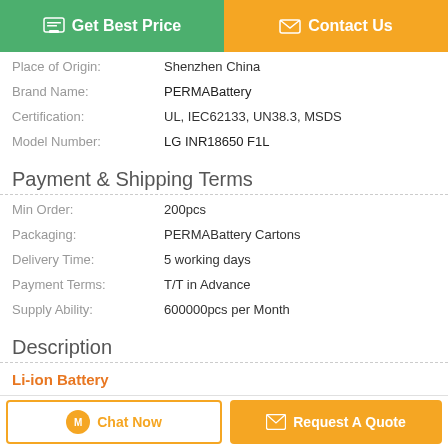[Figure (other): Green 'Get Best Price' button and orange 'Contact Us' button at top of page]
| Place of Origin: | Shenzhen China |
| Brand Name: | PERMABattery |
| Certification: | UL, IEC62133, UN38.3, MSDS |
| Model Number: | LG INR18650 F1L |
Payment & Shipping Terms
| Min Order: | 200pcs |
| Packaging: | PERMABattery Cartons |
| Delivery Time: | 5 working days |
| Payment Terms: | T/T in Advance |
| Supply Ability: | 600000pcs per Month |
Description
Li-ion Battery
[Figure (other): Bottom bar with 'Chat Now' and 'Request A Quote' buttons]